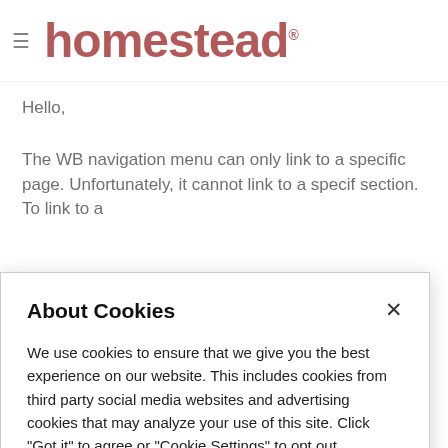homestead® (logo with hamburger menu)
Hello,
The WB navigation menu can only link to a specific page. Unfortunately, it cannot link to a specif section. To link to a
About Cookies
We use cookies to ensure that we give you the best experience on our website. This includes cookies from third party social media websites and advertising cookies that may analyze your use of this site. Click "Got it" to agree or "Cookie Settings" to opt out.
Cookie Notice
Got It
Cookies Settings